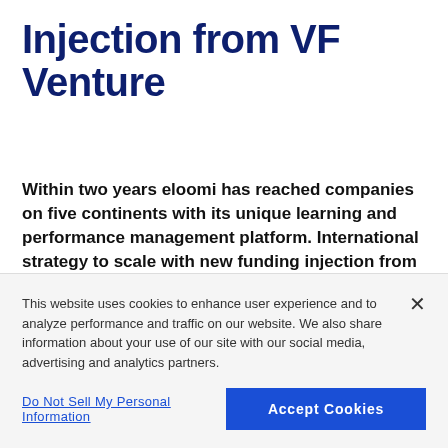Injection from VF Venture
Within two years eloomi has reached companies on five continents with its unique learning and performance management platform. International strategy to scale with new funding injection from VF Venture, the venture capital fund of The Danish Growth Fund.
This website uses cookies to enhance user experience and to analyze performance and traffic on our website. We also share information about your use of our site with our social media, advertising and analytics partners.
Do Not Sell My Personal Information
Accept Cookies